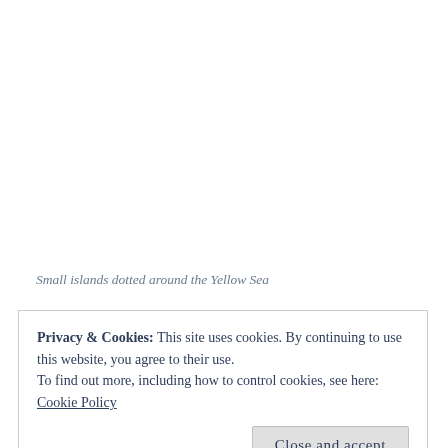Small islands dotted around the Yellow Sea
Privacy & Cookies: This site uses cookies. By continuing to use this website, you agree to their use.
To find out more, including how to control cookies, see here:
Cookie Policy
Close and accept